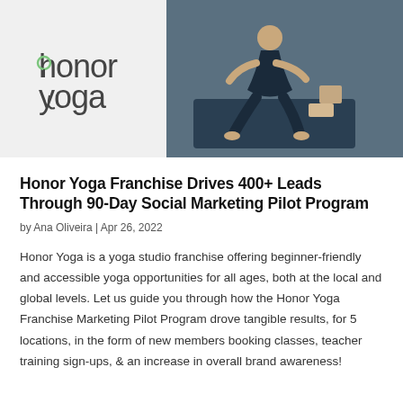[Figure (photo): Honor Yoga branded hero image showing the Honor Yoga logo on a light grey panel on the left, and a yoga practitioner on a mat with yoga blocks on a dark teal background on the right.]
Honor Yoga Franchise Drives 400+ Leads Through 90-Day Social Marketing Pilot Program
by Ana Oliveira | Apr 26, 2022
Honor Yoga is a yoga studio franchise offering beginner-friendly and accessible yoga opportunities for all ages, both at the local and global levels. Let us guide you through how the Honor Yoga Franchise Marketing Pilot Program drove tangible results, for 5 locations, in the form of new members booking classes, teacher training sign-ups, & an increase in overall brand awareness!